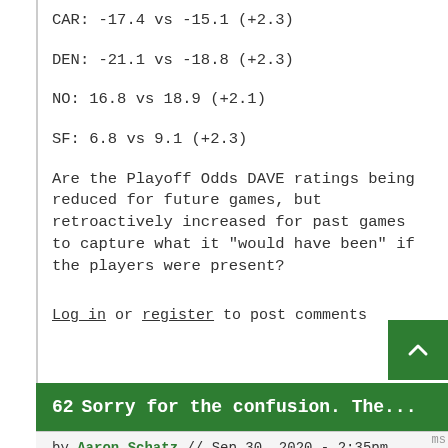CAR: -17.4 vs -15.1  (+2.3)
DEN: -21.1 vs -18.8  (+2.3)
NO: 16.8 vs 18.9  (+2.1)
SF: 6.8 vs 9.1  (+2.3)
Are the Playoff Odds DAVE ratings being reduced for future games, but retroactively increased for past games to capture what it "would have been" if the players were present?
Log in or register to post comments
62  Sorry for the confusion. The...
by Aaron Schatz // Sep 30, 2020 - 2:35pm